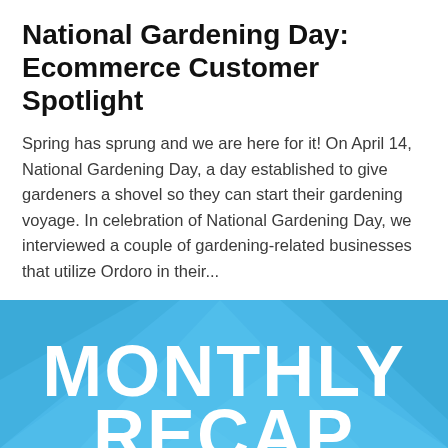National Gardening Day: Ecommerce Customer Spotlight
Spring has sprung and we are here for it! On April 14, National Gardening Day, a day established to give gardeners a shovel so they can start their gardening voyage. In celebration of National Gardening Day, we interviewed a couple of gardening-related businesses that utilize Ordoro in their...
Read More
[Figure (illustration): Blue banner graphic with large white bold text reading 'MONTHLY' and partially visible text below, on a light blue background with geometric triangle shapes.]